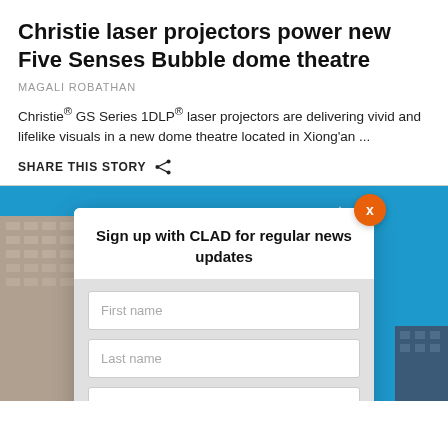Christie laser projectors power new Five Senses Bubble dome theatre
MAGALI ROBATHAN
Christie® GS Series 1DLP® laser projectors are delivering vivid and lifelike visuals in a new dome theatre located in Xiong'an ...
SHARE THIS STORY
[Figure (screenshot): A modal popup overlay on a photo of city buildings against a blue sky. The modal reads 'Sign up with CLAD for regular news updates' with form fields for First name, Last name, Email, and a SIGN UP button. An orange X close button is in the top right of the modal.]